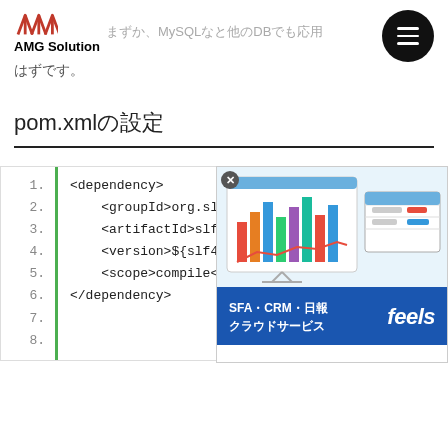AMG Solution まずか、MySQLなと他のDBでも応用 はずです。
pom.xmlの設定
[Figure (screenshot): Code block showing XML dependency configuration with line numbers 1-7, with an advertisement overlay showing SFA・CRM・日報 クラウドサービス feels]
1. <dependency>
2.     <groupId>org.slf
3.     <artifactId>slf4j
4.     <version>${slf4j
5.     <scope>compile</s
6. </dependency>
7.